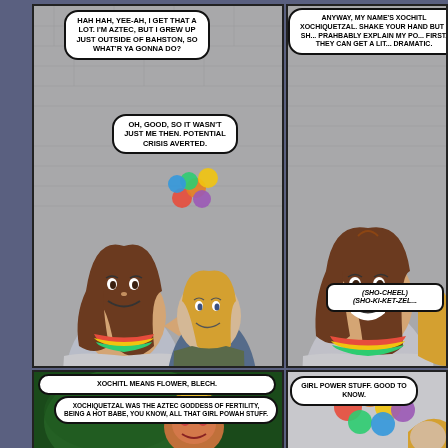[Figure (illustration): Comic book page with four panels. Top-left panel: two women talking, one with brown hair and mohawk-style cut wearing gray shirt, another blonde in military jacket with letter A. Speech bubbles: 'HAH HAH, YEE-AH, I GET THAT A LOT. I'M AZTEC, BUT I GREW UP JUST OUTSIDE OF BAHSTON, SO WHAT'R YA GONNA DO?' and 'OH, GOOD, SO IT WASN'T JUST ME THEN. POTENTIAL CRISIS AVERTED.' Top-right panel: brunette woman smiling, speech bubble cut off reading 'ANYWAY, MY NAME'S XOCHITL XOCHIQUETZAL. SHAKE YOUR HAND BUT I SH... PRAHBABLY EXPLAIN MY PO... FIRST. THEY CAN GET A LIT... DRAMATIC.' with pronunciation guide '(sho-CHEEL) (SHO-ki-KET-zel...'. Bottom-left panel: Aztec goddess figure with headdress, speech bubbles 'XOCHITL MEANS FLOWER, BLECH.' and 'XOCHIQUETZAL WAS THE AZTEC GODDESS OF FERTILITY, BEING A HOT BABE, YOU KNOW, ALL THAT GIRL POWAH STUFF.' Bottom-right panel: blonde figure with glowing orbs, speech bubble 'GIRL POWER STUFF. GOOD TO KNOW.']